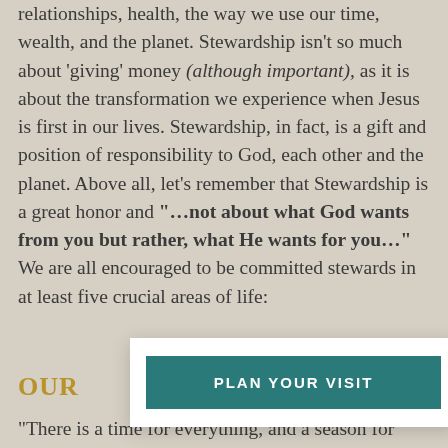relationships, health, the way we use our time, wealth, and the planet. Stewardship isn't so much about 'giving' money (although important), as it is about the transformation we experience when Jesus is first in our lives. Stewardship, in fact, is a gift and position of responsibility to God, each other and the planet. Above all, let's remember that Stewardship is a great honor and "…not about what God wants from you but rather, what He wants for you…" We are all encouraged to be committed stewards in at least five crucial areas of life:
OUR
[Figure (other): White popup overlay with a teal button labeled PLAN YOUR VISIT]
"There is a time for everything, and a season for